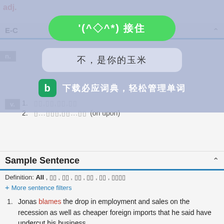[Figure (screenshot): Mobile dictionary app screenshot showing an overlay popup with a green button '¿(^◇^*) 接住', a gray button '不，是你的玉米', and a download bar '下载必应词典，轻松管理单词'. Behind the overlay is a dictionary entry for a word with 'adj.', 'E-C', 'n.', 'v.' labels, definitions, and a Sample Sentence section with a sentence about Jonas.]
¿(^◇^*) 接住
不，是你的玉米
下载必应词典，轻松管理单词
adj.
E-C
n.
v.
1. [corrupted text]
2. [corrupted text] (on upon)
Sample Sentence
Definition: All , [options]
+ More sentence filters
1. Jonas blames the drop in employment and sales on the recession as well as cheaper foreign imports that he said have undercut his business.
qiáo nà sī bǎ jiù yè rén shù hé xiāo shòu liàng de xià jiàng guī jiù